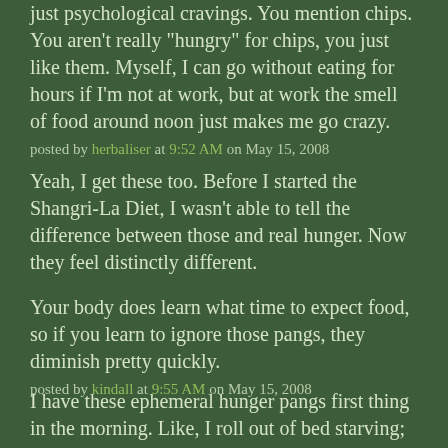just psychological cravings. You mention chips. You aren't really "hungry" for chips, you just like them. Myself, I can go without eating for hours if I'm not at work, but at work the smell of food around noon just makes me go crazy.
posted by herbaliser at 9:52 AM on May 15, 2008
Yeah, I get these too. Before I started the Shangri-La Diet, I wasn't able to tell the difference between those and real hunger. Now they feel distinctly different.

Your body does learn what time to expect food, so if you learn to ignore those pangs, they diminish pretty quickly.
posted by kindall at 9:55 AM on May 15, 2008
I have these ephemeral hunger pangs first thing in the morning. Like, I roll out of bed starving; yet, by the time I get